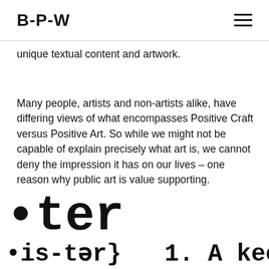B-P-W
unique textual content and artwork.
Many people, artists and non-artists alike, have differing views of what encompasses Positive Craft versus Positive Art. So while we might not be capable of explain precisely what art is, we cannot deny the impression it has on our lives – one reason why public art is value supporting.
•ter
•is-tər}  1. A keeper of secre
rson who is always there fo